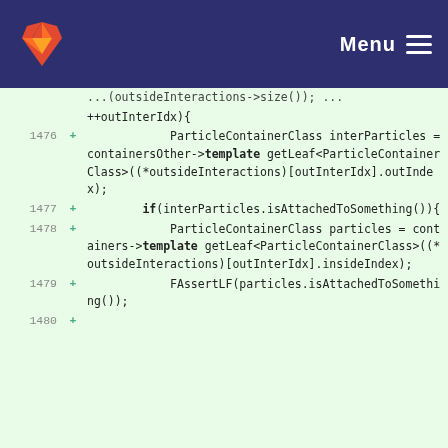Menu
Code diff view showing lines 1476-1480 with C++ template code
[Figure (screenshot): GitLab code diff view showing added lines of C++ source code involving ParticleContainerClass template methods, line numbers 1476-1480]